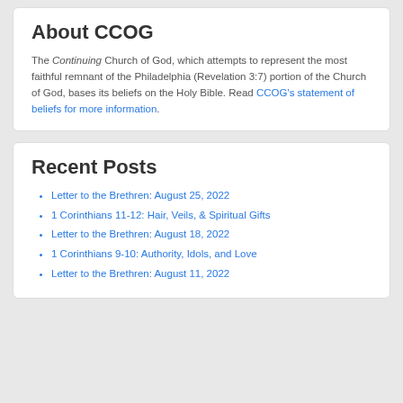About CCOG
The Continuing Church of God, which attempts to represent the most faithful remnant of the Philadelphia (Revelation 3:7) portion of the Church of God, bases its beliefs on the Holy Bible. Read CCOG's statement of beliefs for more information.
Recent Posts
Letter to the Brethren: August 25, 2022
1 Corinthians 11-12: Hair, Veils, & Spiritual Gifts
Letter to the Brethren: August 18, 2022
1 Corinthians 9-10: Authority, Idols, and Love
Letter to the Brethren: August 11, 2022